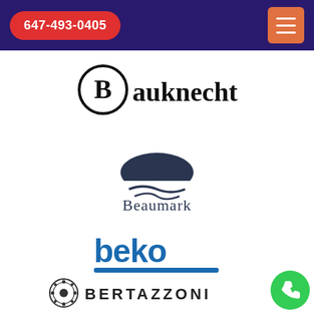647-493-0405
[Figure (logo): Bauknecht brand logo — circular B emblem with bold serif text 'Bauknecht']
[Figure (logo): Beaumark brand logo — dark blue semicircle/dome icon above wavy lines, with text 'Beaumark']
[Figure (logo): beko brand logo — bold blue lowercase 'beko' text with blue underline bar]
[Figure (logo): Bertazzoni brand logo — circular ornate emblem on left with uppercase spaced text 'BERTAZZONI']